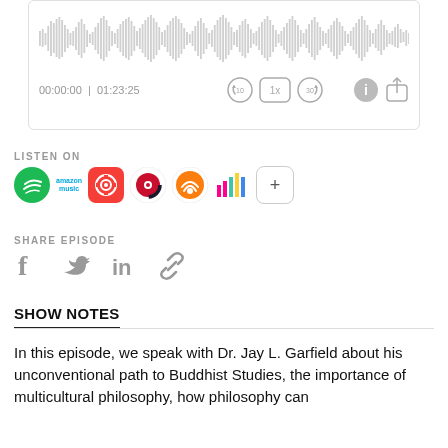[Figure (screenshot): Podcast audio player with waveform visualization, timestamp 00:00:00 | 01:23:25, playback controls including rewind 10s, 1x speed, forward 30s, info and share buttons]
LISTEN ON
[Figure (infographic): Row of podcast platform icons: Spotify (green), Amazon Music, Pocket Casts (orange), Player.fm (red/white), Overcast (red), Deezer (colorful bars), plus button]
SHARE EPISODE
[Figure (infographic): Social share icons: Facebook, Twitter, LinkedIn, link/chain icon]
SHOW NOTES
In this episode, we speak with Dr. Jay L. Garfield about his unconventional path to Buddhist Studies, the importance of multicultural philosophy, how philosophy can